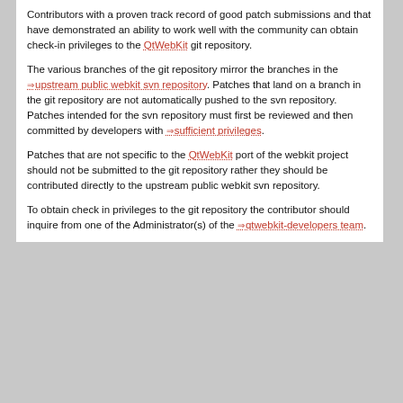Contributors with a proven track record of good patch submissions and that have demonstrated an ability to work well with the community can obtain check-in privileges to the QtWebKit git repository.
The various branches of the git repository mirror the branches in the upstream public webkit svn repository. Patches that land on a branch in the git repository are not automatically pushed to the svn repository. Patches intended for the svn repository must first be reviewed and then committed by developers with sufficient privileges.
Patches that are not specific to the QtWebKit port of the webkit project should not be submitted to the git repository rather they should be contributed directly to the upstream public webkit svn repository.
To obtain check in privileges to the git repository the contributor should inquire from one of the Administrator(s) of the qtwebkit-developers team.
Attachments (3)
Download in other formats:
Plain Text
Powered by Trac 1.2.3 By Edgewall Software. Hosted by Apple